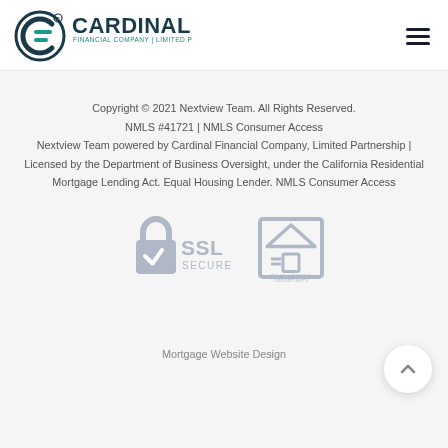[Figure (logo): Cardinal Financial Company, Limited Partnership logo with CF icon and teal/navy text]
Copyright © 2021 Nextview Team. All Rights Reserved.
NMLS #41721 | NMLS Consumer Access
Nextview Team powered by Cardinal Financial Company, Limited Partnership | Licensed by the Department of Business Oversight, under the California Residential Mortgage Lending Act. Equal Housing Lender. NMLS Consumer Access
[Figure (infographic): SSL Secure badge with padlock and checkmark icon in grey]
[Figure (infographic): Equal Housing Opportunity logo in grey]
Mortgage Website Design